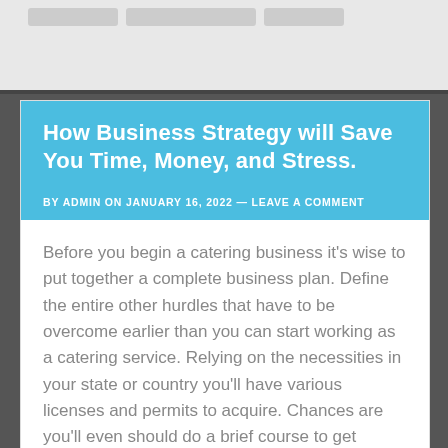How Business Strategy will Save You Time, Money, and Stress.
BY ADMIN ON JANUARY 16, 2022 — LEAVE A COMMENT
Before you begin a catering business it’s wise to put together a complete business plan. Define the entire other hurdles that have to be overcome earlier than you can start working as a catering service. Relying on the necessities in your state or country you’ll have various licenses and permits to acquire. Chances are you’ll even should do a brief course to get licensed in food management or hygiene. You will need to set out the prices involved as well as a time frame for compliance